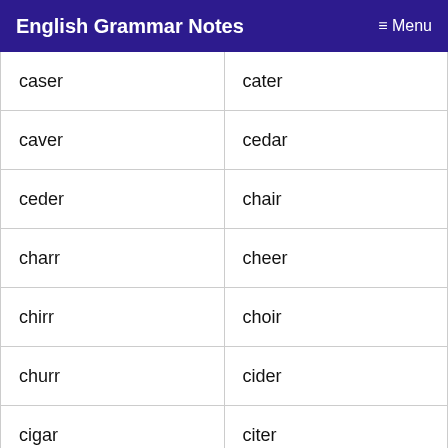English Grammar Notes   ≡ Menu
| caser | cater |
| caver | cedar |
| ceder | chair |
| charr | cheer |
| chirr | choir |
| churr | cider |
| cigar | citer |
| clear | coder |
| coker | color |
| comdr | comer |